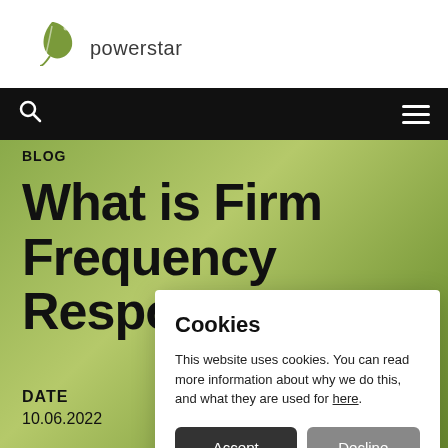[Figure (logo): Powerstar logo with green leaf icon above the text 'powerstar']
[Figure (other): Black navigation bar with search icon (magnifying glass) on the left and hamburger menu icon on the right]
BLOG
What is Firm Frequency Response
DATE
10.06.2022
Cookies

This website uses cookies. You can read more information about why we do this, and what they are used for here.